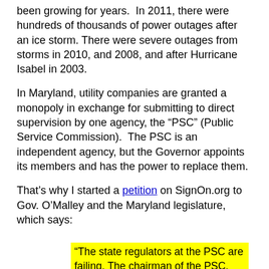been growing for years. In 2011, there were hundreds of thousands of power outages after an ice storm. There were severe outages from storms in 2010, and 2008, and after Hurricane Isabel in 2003.
In Maryland, utility companies are granted a monopoly in exchange for submitting to direct supervision by one agency, the “PSC” (Public Service Commission). The PSC is an independent agency, but the Governor appoints its members and has the power to replace them.
That’s why I started a petition on SignOn.org to Gov. O’Malley and the Maryland legislature, which says:
“The state regulators at the PSC are failing. The chairman of the PSC, Douglas Nazarian, has admitted that they were slow to recognize problems at Pepco. But he is still in charge of the PSC and so are the rest of the slow responders. Why?”